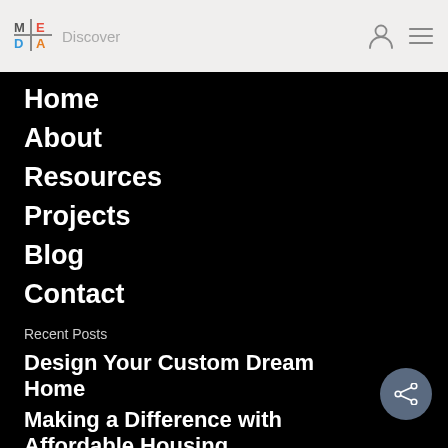MEDA | Discover
Home
About
Resources
Projects
Blog
Contact
Recent Posts
Design Your Custom Dream Home
Making a Difference with Affordable Housing
Imagine Every Detail Before You Build